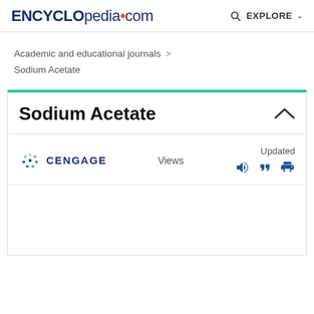ENCYCLOpedia•com  EXPLORE
Academic and educational journals > Sodium Acetate
Sodium Acetate
CENGAGE  Views  Updated